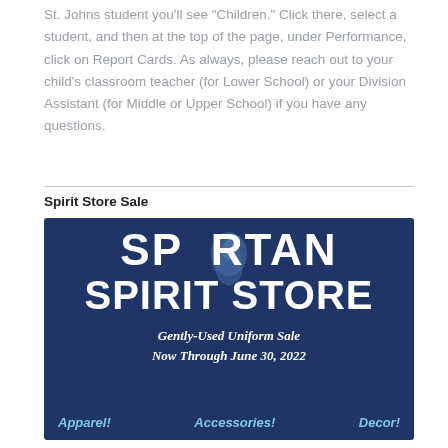St. Johns student you'll see "Children." Click there, select a student, and then at the top of the page, under Performance, click on Report Cards. As always, please reach out to your child's classroom teacher (for Lower School) or your Division Assistant (for Middle or Upper School) if you have any questions.
Spirit Store Sale
[Figure (illustration): Spartan Spirit Store banner with navy blue background, large white bold text reading 'SPARTAN SPIRIT STORE' with a Spartan helmet logo, subtitle 'Gently-Used Uniform Sale Now Through June 30, 2022', and bottom labels in light blue: 'Apparel!', 'Accessories!', 'Decor!']